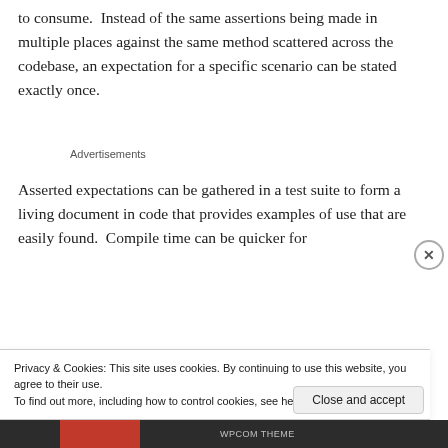to consume.  Instead of the same assertions being made in multiple places against the same method scattered across the codebase, an expectation for a specific scenario can be stated exactly once.
Advertisements
Asserted expectations can be gathered in a test suite to form a living document in code that provides examples of use that are easily found.  Compile time can be quicker for
Privacy & Cookies: This site uses cookies. By continuing to use this website, you agree to their use.
To find out more, including how to control cookies, see here: Cookie Policy
Close and accept